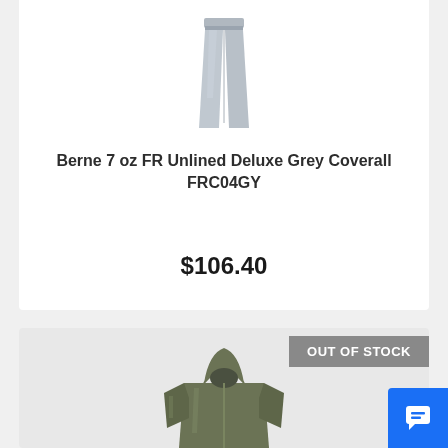[Figure (photo): Grey coverall/pants product image on white background]
Berne 7 oz FR Unlined Deluxe Grey Coverall FRC04GY
$106.40
[Figure (photo): Olive/khaki hooded zip-up sweatshirt product image with OUT OF STOCK badge]